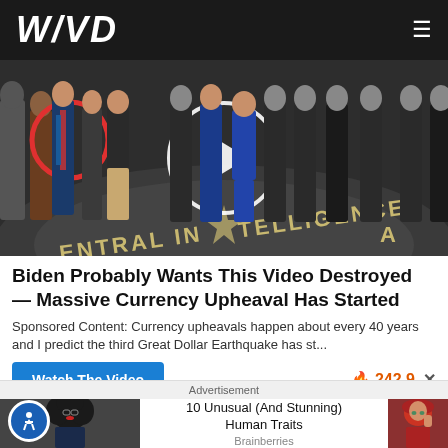WND
[Figure (photo): Group of people standing in the CIA headquarters lobby with the Central Intelligence Agency seal on the floor. A white circle play button overlay is visible, indicating a video thumbnail.]
Biden Probably Wants This Video Destroyed — Massive Currency Upheaval Has Started
Sponsored Content: Currency upheavals happen about every 40 years and I predict the third Great Dollar Earthquake has st...
Watch The Video
242,9
Advertisement
[Figure (photo): Woman with curly dark hair and glasses, wearing a dark top.]
10 Unusual (And Stunning) Human Traits
Brainberries
[Figure (photo): Woman with red hair wearing a red beret, looking to the side.]